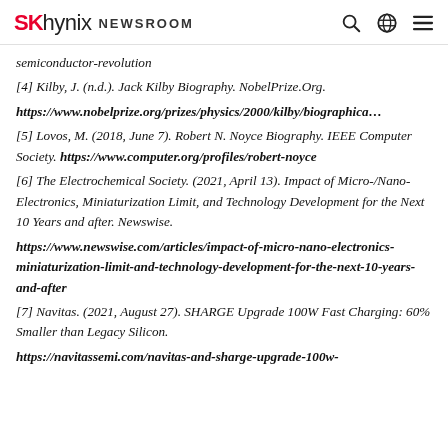SK hynix NEWSROOM
semiconductor-revolution
[4] Kilby, J. (n.d.). Jack Kilby Biography. NobelPrize.Org. https://www.nobelprize.org/prizes/physics/2000/kilby/biographica…
[5] Lovos, M. (2018, June 7). Robert N. Noyce Biography. IEEE Computer Society. https://www.computer.org/profiles/robert-noyce
[6] The Electrochemical Society. (2021, April 13). Impact of Micro-/Nano-Electronics, Miniaturization Limit, and Technology Development for the Next 10 Years and after. Newswise. https://www.newswise.com/articles/impact-of-micro-nano-electronics-miniaturization-limit-and-technology-development-for-the-next-10-years-and-after
[7] Navitas. (2021, August 27). SHARGE Upgrade 100W Fast Charging: 60% Smaller than Legacy Silicon. https://navitassemi.com/navitas-and-sharge-upgrade-100w-